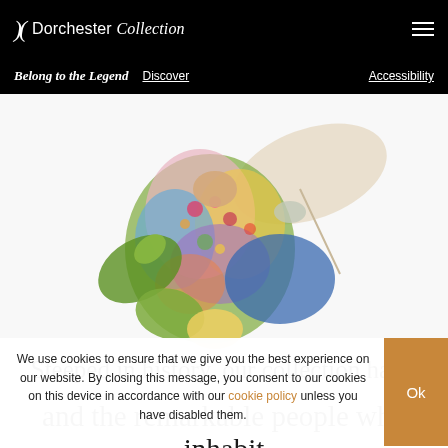Dorchester Collection
Belong to the Legend  Discover  Accessibility
[Figure (illustration): A colorful illustrated figure of a person wearing a vibrant floral outfit, holding an open umbrella or fan, shown in a dynamic jumping or floating pose against a white background.]
Steeped in history, our collection has a
We use cookies to ensure that we give you the best experience on our website. By closing this message, you consent to our cookies on this device in accordance with our cookie policy unless you have disabled them.
and the remarkable people who inhabit them. Extraordinary places where memorable stories